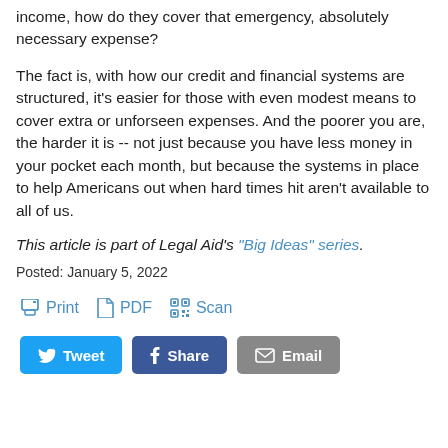income, how do they cover that emergency, absolutely necessary expense?
The fact is, with how our credit and financial systems are structured, it's easier for those with even modest means to cover extra or unforseen expenses. And the poorer you are, the harder it is -- not just because you have less money in your pocket each month, but because the systems in place to help Americans out when hard times hit aren't available to all of us.
This article is part of Legal Aid's "Big Ideas" series.
Posted: January 5, 2022
[Figure (other): Print, PDF, and Scan action links]
[Figure (other): Tweet, Share, and Email social share buttons]